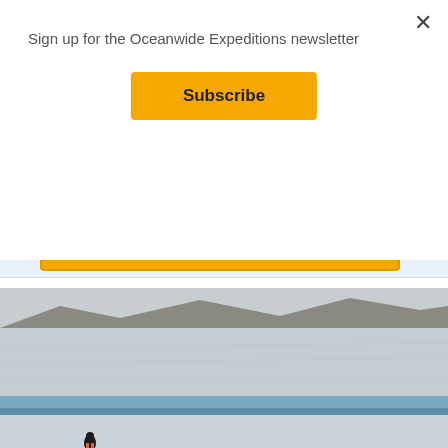Sign up for the Oceanwide Expeditions newsletter
Subscribe
Show cruise >
[Figure (photo): Snowy Antarctic or Arctic landscape with ice and a penguin visible at the bottom edge, blue-grey tones, wide open icy terrain with rocky hills in background.]